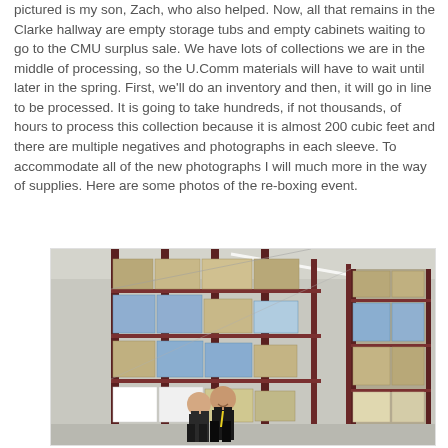pictured is my son, Zach, who also helped. Now, all that remains in the Clarke hallway are empty storage tubs and empty cabinets waiting to go to the CMU surplus sale. We have lots of collections we are in the middle of processing, so the U.Comm materials will have to wait until later in the spring. First, we'll do an inventory and then, it will go in line to be processed. It is going to take hundreds, if not thousands, of hours to process this collection because it is almost 200 cubic feet and there are multiple negatives and photographs in each sleeve. To accommodate all of the new photographs I will much more in the way of supplies. Here are some photos of the re-boxing event.
[Figure (photo): Two people standing in a large archive storage room with tall metal shelving units filled with boxes and storage containers, photographed from a low angle looking up the aisle between shelves.]